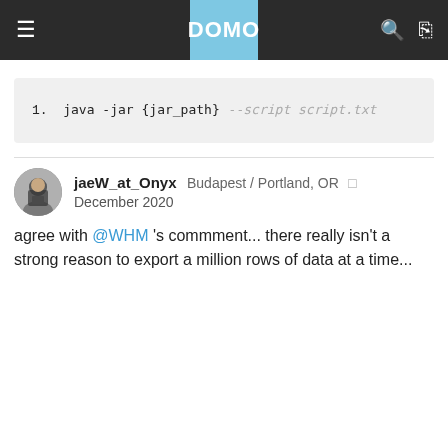DOMO
jaeW_at_Onyx Budapest / Portland, OR  December 2020
agree with @WHM 's commment... there really isn't a strong reason to export a million rows of data at a time...